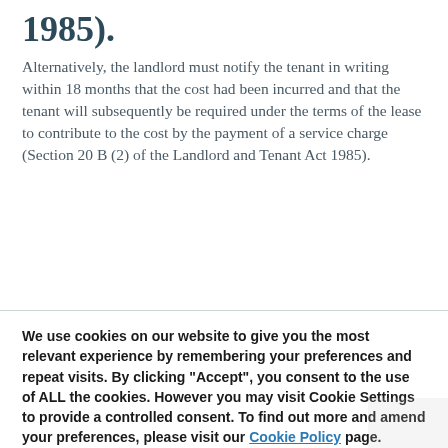1985).
Alternatively, the landlord must notify the tenant in writing within 18 months that the cost had been incurred and that the tenant will subsequently be required under the terms of the lease to contribute to the cost by the payment of a service charge (Section 20 B (2) of the Landlord and Tenant Act 1985).
We use cookies on our website to give you the most relevant experience by remembering your preferences and repeat visits. By clicking “Accept”, you consent to the use of ALL the cookies. However you may visit Cookie Settings to provide a controlled consent. To find out more and amend your preferences, please visit our Cookie Policy page.